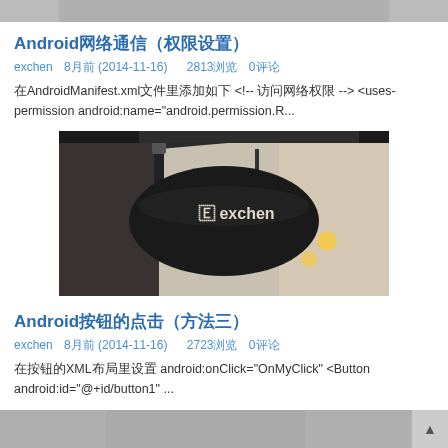[Figure (photo): Partial top image, cropped at top of page]
Android网络通信（权限设置）
exchen   8月前 (2014-11-16)   2813浏览   0评论
在AndroidManifest.xml文件里添加如下 <!-- 访问网络权限 --> <uses-permission android:name="android.permission.R...
[Figure (photo): A black oval sign hanging from a building bracket with text 'exchen' on it. Street/building background visible.]
Android按钮的点击（方法三）
exchen   8月前 (2014-11-16)   2723浏览   0评论
在按钮的XML布局里设置 android:onClick="OnMyClick" <Button android:id="@+id/button1" ...
[Figure (photo): Partial bottom image, cropped at bottom of page]